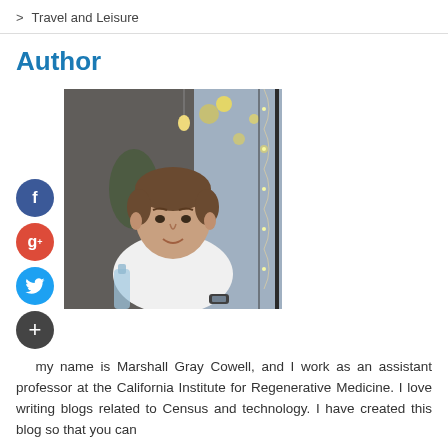> Travel and Leisure
Author
[Figure (photo): Portrait photo of Marshall Gray Cowell, a young man in a white t-shirt, seated at a table in what appears to be a restaurant or cafe, with bokeh lights in the background.]
Hi my name is Marshall Gray Cowell, and I work as an assistant professor at the California Institute for Regenerative Medicine. I love writing blogs related to Census and technology. I have created this blog so that you can